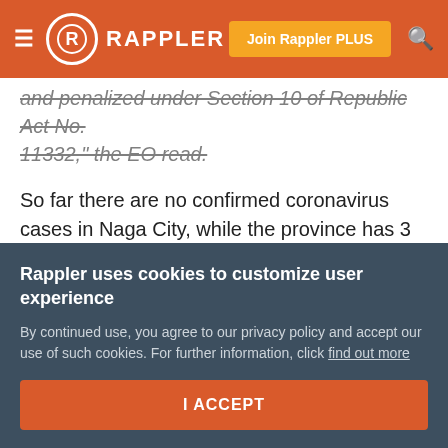RAPPLER | Join Rappler PLUS
and penalized under Section 10 of Republic Act No. 11332," the EO read.
So far there are no confirmed coronavirus cases in Naga City, while the province has 3 confirmed cases whose towns are unknown.
Cebu City has the most number of cases in the region with 312 cases out of 346 confirmed cases in the region.
Cebu City announced it would extend its enhanced
Rappler uses cookies to customize user experience
By continued use, you agree to our privacy policy and accept our use of such cookies. For further information, click find out more
I ACCEPT